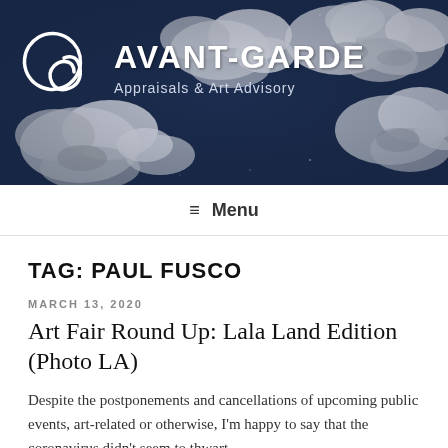[Figure (illustration): Website header banner with dark navy blue background showing stylized cloud painting artwork in blue and white tones. White logo mark (stylized 'ag' letters) on the left, with 'AVANT-GARDE' in large bold white text and 'Appraisals & Art Advisory' subtitle below it.]
≡ Menu
TAG: PAUL FUSCO
MARCH 13, 2020
Art Fair Round Up: Lala Land Edition (Photo LA)
Despite the postponements and cancellations of upcoming public events, art-related or otherwise, I'm happy to say that the coronavirus didn't seem to thwart the...